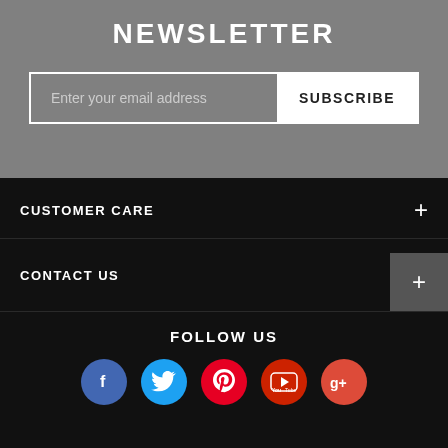NEWSLETTER
Enter your email address
SUBSCRIBE
CUSTOMER CARE
CONTACT US
FOLLOW US
[Figure (infographic): Social media icons: Facebook, Twitter, Pinterest, YouTube, Google+]
Copyright © 2019-2022 Lviv7 All Rights Reserved.